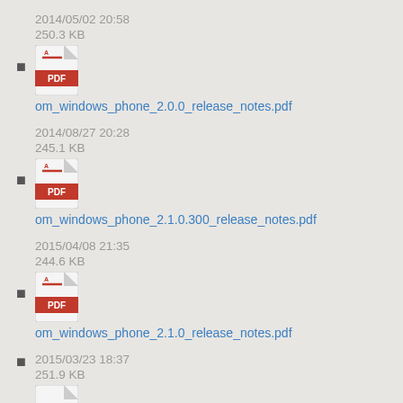2014/05/02 20:58
250.3 KB
om_windows_phone_2.0.0_release_notes.pdf
2014/08/27 20:28
245.1 KB
om_windows_phone_2.1.0.300_release_notes.pdf
2015/04/08 21:35
244.6 KB
om_windows_phone_2.1.0_release_notes.pdf
2015/03/23 18:37
251.9 KB